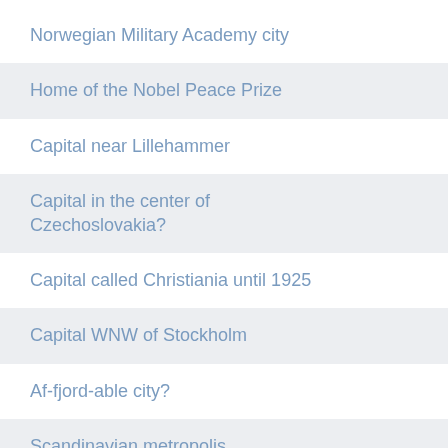Norwegian Military Academy city
Home of the Nobel Peace Prize
Capital near Lillehammer
Capital in the center of Czechoslovakia?
Capital called Christiania until 1925
Capital WNW of Stockholm
Af-fjord-able city?
Scandinavian metropolis
Nobel Peace Prize presentation city